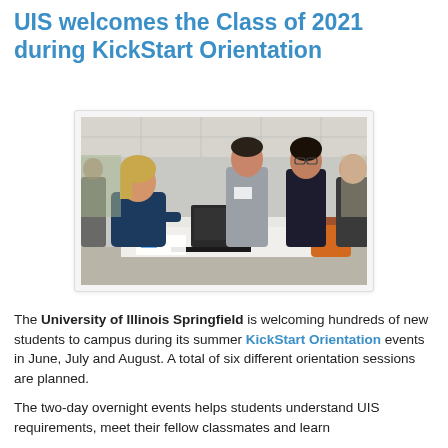UIS welcomes the Class of 2021 during KickStart Orientation
[Figure (photo): A university staff member sitting at a table with a laptop assists new students during KickStart Orientation. Two female students stand across the table. The setting appears to be an indoor/outdoor covered area on campus.]
The University of Illinois Springfield is welcoming hundreds of new students to campus during its summer KickStart Orientation events in June, July and August. A total of six different orientation sessions are planned.
The two-day overnight events helps students understand UIS requirements, meet their fellow classmates and learn